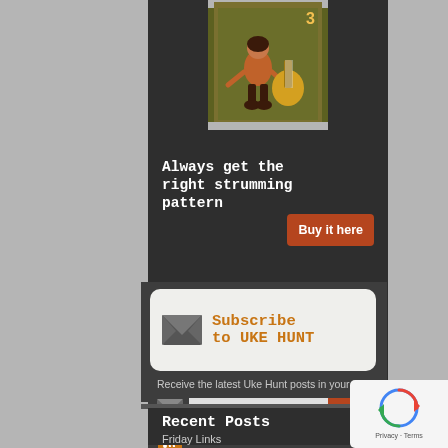[Figure (illustration): Stamp-style illustration of a person playing a ukulele on an olive-green background with a decorative stamp border]
Always get the right strumming pattern
Buy it here
[Figure (infographic): Subscribe to UKE HUNT banner with envelope icon on light background]
Receive the latest Uke Hunt posts in your inbox.
Enter your email address...
submit
Click here for the Uke Hunt RSS Feed
Recent Posts
Friday Links